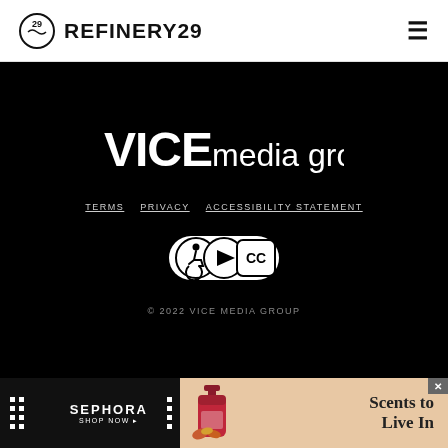REFINERY29
[Figure (logo): VICE media group logo in white on black background]
TERMS   PRIVACY   ACCESSIBILITY STATEMENT
[Figure (other): Accessibility icons badge: wheelchair, play button, closed caption]
© 2022 VICE MEDIA GROUP
[Figure (other): Sephora advertisement banner: SEPHORA SHOP NOW with Scents to Live In fragrance ad]